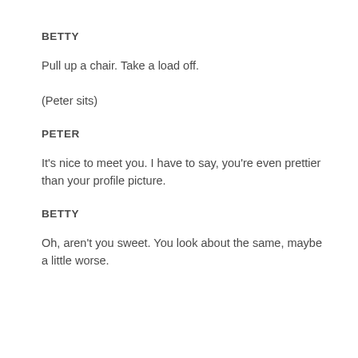BETTY
Pull up a chair. Take a load off.
(Peter sits)
PETER
It’s nice to meet you. I have to say, you’re even prettier than your profile picture.
BETTY
Oh, aren’t you sweet. You look about the same, maybe a little worse.